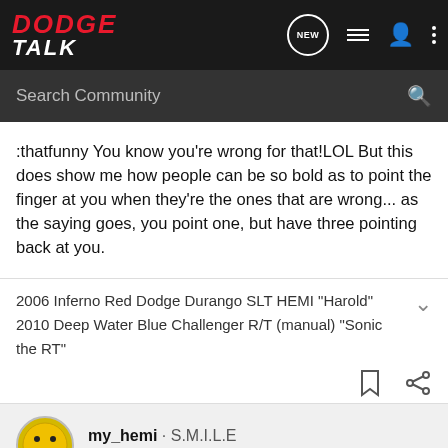DODGE TALK
:thatfunny You know you're wrong for that!LOL But this does show me how people can be so bold as to point the finger at you when they're the ones that are wrong... as the saying goes, you point one, but have three pointing back at you.
2006 Inferno Red Dodge Durango SLT HEMI "Harold"
2010 Deep Water Blue Challenger R/T (manual) "Sonic the RT"
my_hemi · S.M.I.L.E
Joined Mar 20, 2008 · 597 Posts
Discussion Starter · #10 · Feb 5, 2009